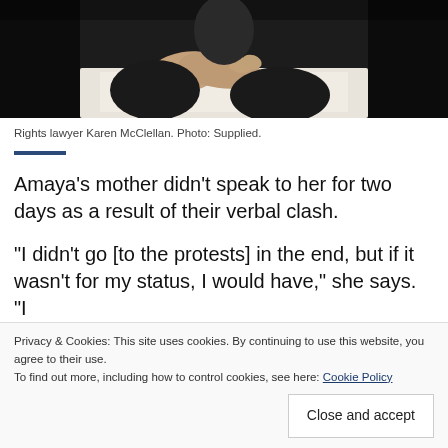[Figure (photo): Photograph of rights lawyer Karen McClellan, showing hands clasped over papers, dark clothing, dark background.]
Rights lawyer Karen McClellan. Photo: Supplied.
Amaya’s mother didn’t speak to her for two days as a result of their verbal clash.
“I didn’t go [to the protests] in the end, but if it wasn’t for my status, I would have,” she says. “I
Privacy & Cookies: This site uses cookies. By continuing to use this website, you agree to their use.
To find out more, including how to control cookies, see here: Cookie Policy